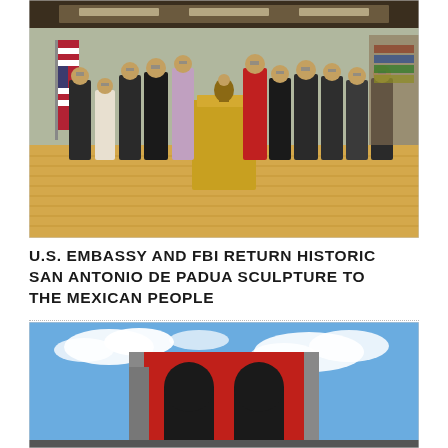[Figure (photo): Group photo of approximately 11 people wearing face masks standing in a formal room with wood paneling and floors. A US flag is visible on the left. In the center is a golden pedestal with a small statue (San Antonio de Padua sculpture). People are dressed in formal business attire.]
U.S. EMBASSY AND FBI RETURN HISTORIC SAN ANTONIO DE PADUA SCULPTURE TO THE MEXICAN PEOPLE
[Figure (photo): Exterior photo of a modern red and grey architectural structure or building against a blue sky with white clouds. The structure features arched openings in red coloring.]